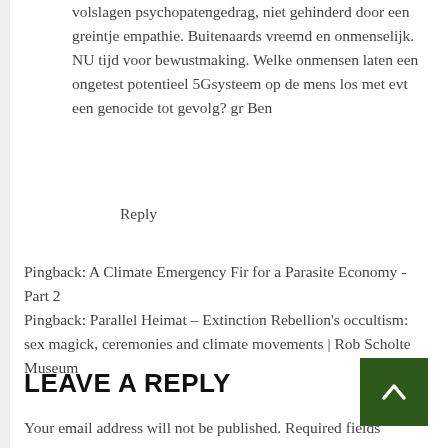volslagen psychopatengedrag, niet gehinderd door een greintje empathie. Buitenaards vreemd en onmenselijk. NU tijd voor bewustmaking. Welke onmensen laten een ongetest potentieel 5Gsysteem op de mens los met evt een genocide tot gevolg? gr Ben
Reply
Pingback: A Climate Emergency Fir for a Parasite Economy - Part 2
Pingback: Parallel Heimat – Extinction Rebellion's occultism: sex magick, ceremonies and climate movements | Rob Scholte Museum
LEAVE A REPLY
Your email address will not be published. Required fields